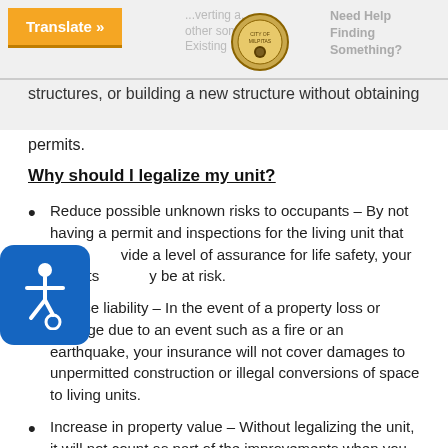Translate » [City of Milpitas seal] Need Help Finding Something?
structures, or building a new structure without obtaining permits.
Why should I legalize my unit?
Reduce possible unknown risks to occupants – By not having a permit and inspections for the living unit that will provide a level of assurance for life safety, your tenants may be at risk.
Reduce liability – In the event of a property loss or damage due to an event such as a fire or an earthquake, your insurance will not cover damages to unpermitted construction or illegal conversions of space to living units.
Increase in property value – Without legalizing the unit, it will not count as part of the improvements when you get an appraisal for refinance or sale of the property.
Ease of mind – without concern for sanctions due to illegal